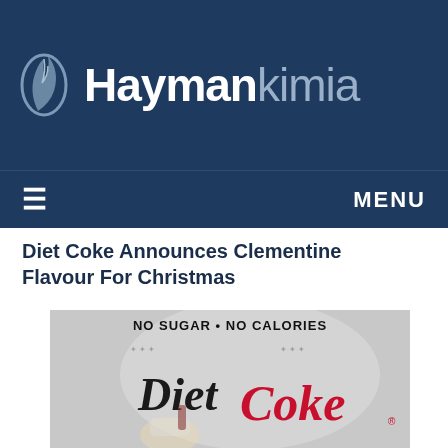[Figure (logo): Haymankimia logo with flame icon on dark navy blue background]
≡  MENU
Diet Coke Announces Clementine Flavour For Christmas
[Figure (photo): Diet Coke can with Christmas Santa Claus design, text reads NO SUGAR • NO CALORIES]